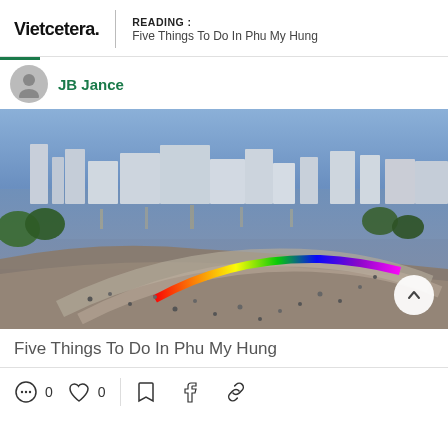Vietcetera. | READING : Five Things To Do In Phu My Hung
JB Jance
[Figure (photo): Aerial panoramic photo of Phu My Hung, Ho Chi Minh City at dusk showing a lakeside park with a rainbow-lit curved bridge/walkway, people gathering, and city skyline in the background with blue twilight sky.]
Five Things To Do In Phu My Hung